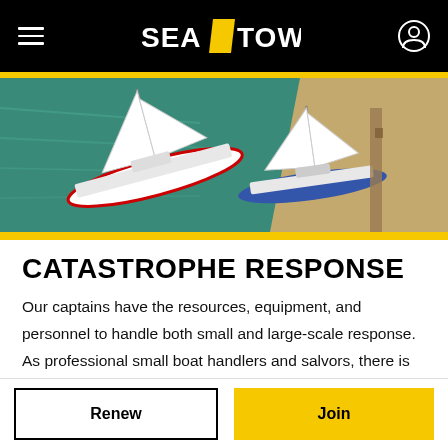SEA TOW — navigation header with hamburger menu and account icon
[Figure (photo): Aerial view of two sailboats grounded on a sandy shore near water, one white with red stripe, the other with a blue hull, surrounded by turquoise water and sandy beach.]
CATASTROPHE RESPONSE
Our captains have the resources, equipment, and personnel to handle both small and large-scale response. As professional small boat handlers and salvors, there is no better team to retrieve vessels and mitigate damage after an event. Overland marine transport services may
Renew
Join